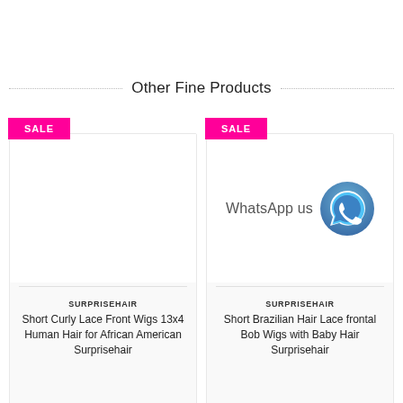Other Fine Products
[Figure (other): Product card with SALE badge and empty product image for Short Curly Lace Front Wigs]
SURPRISEHAIR
Short Curly Lace Front Wigs 13x4 Human Hair for African American Surprisehair
[Figure (other): Product card with SALE badge and WhatsApp us icon for Short Brazilian Hair Lace frontal Bob Wigs]
SURPRISEHAIR
Short Brazilian Hair Lace frontal Bob Wigs with Baby Hair Surprisehair